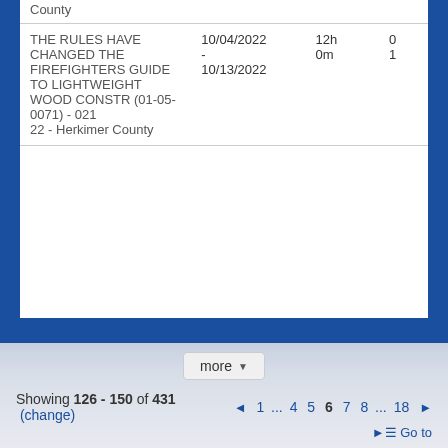| Title | Date | Time |  |
| --- | --- | --- | --- |
| County |  |  |  |
| THE RULES HAVE CHANGED THE FIREFIGHTERS GUIDE TO LIGHTWEIGHT WOOD CONSTR (01-05-0071) - 021
22 - Herkimer County | 10/04/2022
-
10/13/2022 | 12h
0m | 0
1 |
Terms of Service | Feedback
more ▼
Showing 126 - 150 of 431  (change)   ◄  1 ... 4 5 6 7 8 ... 18  ►   ► Go to